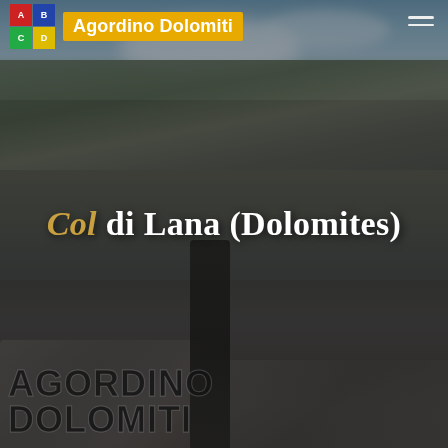[Figure (photo): Mountain landscape photograph showing rocky terrain of Col di Lana in the Dolomites, with stone ruins in the foreground and a mountain peak against a partly cloudy sky. Dark, moody tones.]
Agordino Dolomiti
Col di Lana (Dolomites)
AGORDINO DOLOMITI